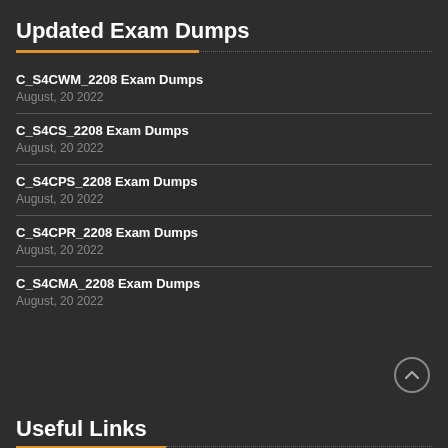Updated Exam Dumps
C_S4CWM_2208 Exam Dumps
August, 20 2022
C_S4CS_2208 Exam Dumps
August, 20 2022
C_S4CPS_2208 Exam Dumps
August, 20 2022
C_S4CPR_2208 Exam Dumps
August, 20 2022
C_S4CMA_2208 Exam Dumps
August, 20 2022
Useful Links